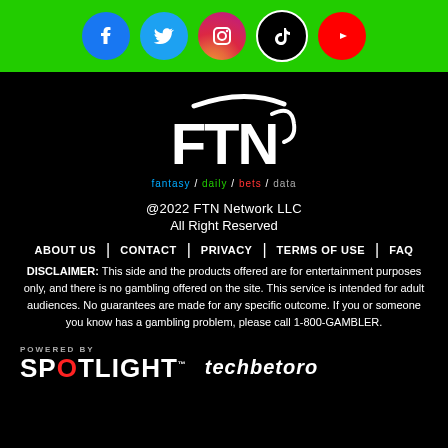[Figure (illustration): Social media icons row: Facebook, Twitter, Instagram, TikTok, YouTube on green background]
[Figure (logo): FTN Network logo with swoosh and tagline: fantasy / daily / bets / data]
@2022 FTN Network LLC
All Right Reserved
ABOUT US | CONTACT | PRIVACY | TERMS OF USE | FAQ
DISCLAIMER: This side and the products offered are for entertainment purposes only, and there is no gambling offered on the site. This service is intended for adult audiences. No guarantees are made for any specific outcome. If you or someone you know has a gambling problem, please call 1-800-GAMBLER.
[Figure (logo): POWERED BY SPOTLIGHT logo and techbetoro logo]